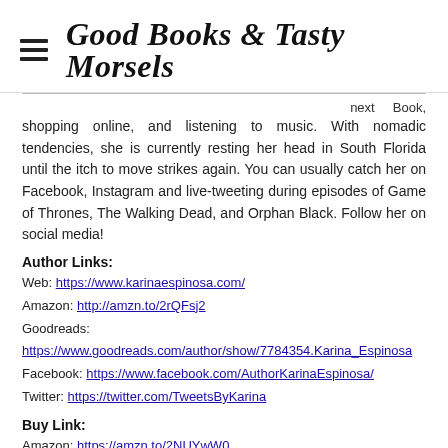Good Books & Tasty Morsels
next Book, shopping online, and listening to music. With nomadic tendencies, she is currently resting her head in South Florida until the itch to move strikes again. You can usually catch her on Facebook, Instagram and live-tweeting during episodes of Game of Thrones, The Walking Dead, and Orphan Black. Follow her on social media!
Author Links:
Web: https://www.karinaespinosa.com/
Amazon: http://amzn.to/2rQFsj2
Goodreads:
https://www.goodreads.com/author/show/7784354.Karina_Espinosa
Facebook: https://www.facebook.com/AuthorKarinaEspinosa/
Twitter: https://twitter.com/TweetsByKarina
Buy Link:
Amazon: https://amzn.to/2NUYwW0